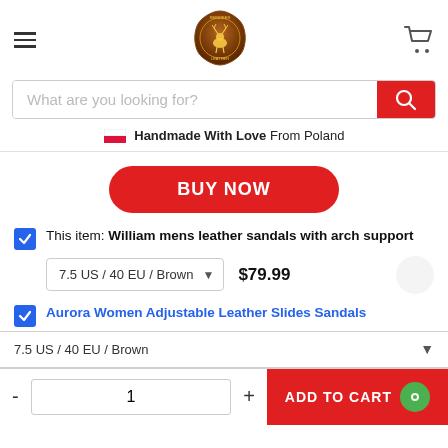[Figure (logo): Reindeer Leather brand logo - circular brown badge with a reindeer silhouette]
What are you looking for?
🇵🇱 Handmade With Love From Poland
BUY NOW
This item: William mens leather sandals with arch support
7.5 US / 40 EU / Brown  $79.99
Aurora Women Adjustable Leather Slides Sandals
7.5 US / 40 EU / Brown
- 1 + ADD TO CART